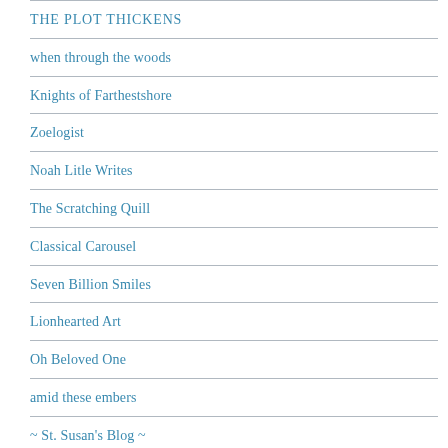THE PLOT THICKENS
when through the woods
Knights of Farthestshore
Zoelogist
Noah Litle Writes
The Scratching Quill
Classical Carousel
Seven Billion Smiles
Lionhearted Art
Oh Beloved One
amid these embers
~ St. Susan's Blog ~